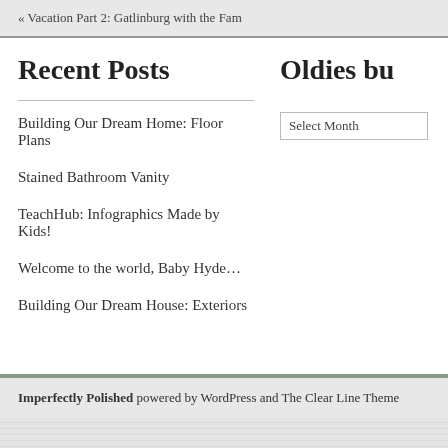« Vacation Part 2: Gatlinburg with the Fam
Recent Posts
Oldies bu
Building Our Dream Home: Floor Plans
Stained Bathroom Vanity
TeachHub: Infographics Made by Kids!
Welcome to the world, Baby Hyde…
Building Our Dream House: Exteriors
Imperfectly Polished powered by WordPress and The Clear Line Theme